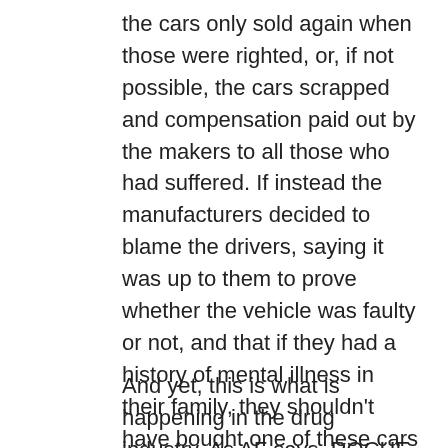the cars only sold again when those were righted, or, if not possible, the cars scrapped and compensation paid out by the makers to all those who had suffered. If instead the manufacturers decided to blame the drivers, saying it was up to them to prove whether the vehicle was faulty or not, and that if they had a history of mental illness in their family, they shouldn't have bought one of these cars in the first place as they were therefore deemed accident-prone, people would be incredulous at the ridiculous nerve of the manufacturers.
And yet, this is what is happening in the drug industry. As AF says, ROCHE withdrew RoAccutane-isotretinoin(Accutane) in the USA, (citing, as I understood it, commercial reasons). They'd had to pay out massive sums in compensation to people who had had to have colostomies following the use of the drug and